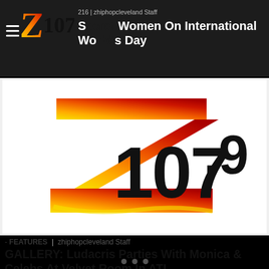216 | zhiphopcleveland Staff
[Figure (logo): Z107.9 radio station logo — stylized orange-to-yellow gradient letter Z with black bold text 107.9]
[Figure (logo): Z107.9 large logo on white background — stylized brush-stroke Z in orange/red/yellow gradient with bold black 107.9]
- FEATURES | zhiphopcleveland Staff
GALLERY: Ludacris Parties With Monica & Celebs At Velvet Room In ATL